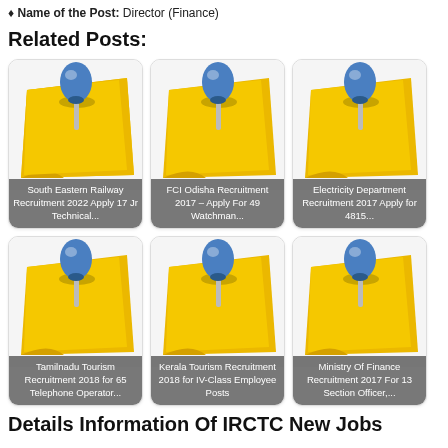♦ Name of the Post: Director (Finance)
Related Posts:
[Figure (illustration): Pinned note card icon with blue thumbtack on yellow sticky note]
South Eastern Railway Recruitment 2022 Apply 17 Jr Technical...
[Figure (illustration): Pinned note card icon with blue thumbtack on yellow sticky note]
FCI Odisha Recruitment 2017 – Apply For 49 Watchman...
[Figure (illustration): Pinned note card icon with blue thumbtack on yellow sticky note]
Electricity Department Recruitment 2017 Apply for 4815...
[Figure (illustration): Pinned note card icon with blue thumbtack on yellow sticky note]
Tamilnadu Tourism Recruitment 2018 for 65 Telephone Operator...
[Figure (illustration): Pinned note card icon with blue thumbtack on yellow sticky note]
Kerala Tourism Recruitment 2018 for IV-Class Employee Posts
[Figure (illustration): Pinned note card icon with blue thumbtack on yellow sticky note]
Ministry Of Finance Recruitment 2017 For 13 Section Officer,...
Details Information Of IRCTC New Jobs